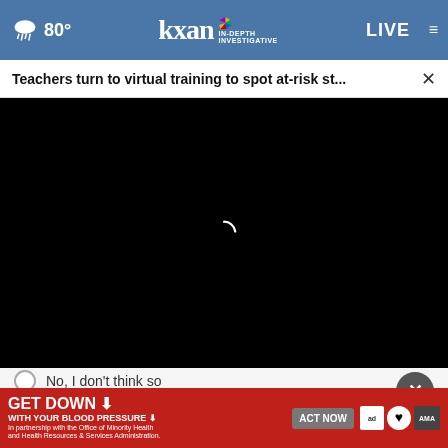80° kxan IN-DEPTH INVESTIGATIVE LIVE ≡
Teachers turn to virtual training to spot at-risk st... ×
[Figure (screenshot): Black video player area with a small white loading spinner arc in the center]
No, I don't think so
Other / No opinion
[Figure (infographic): GET DOWN WITH YOUR BLOOD PRESSURE advertisement banner in red with ACT NOW button and sponsor logos (ad council, American Heart Association, AMA)]